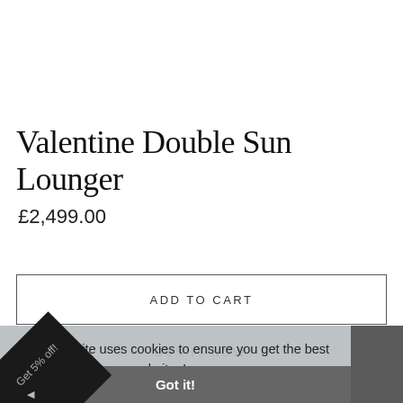Valentine Double Sun Lounger
£2,499.00
ADD TO CART
This website uses cookies to ensure you get the best experience on our website. Learn more
BUY IT NOW
Got it!
Get 5% off!